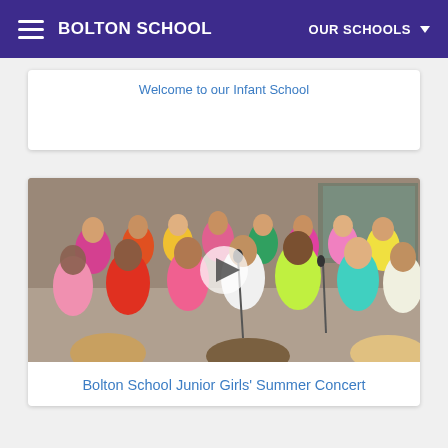BOLTON SCHOOL | OUR SCHOOLS
Welcome to our Infant School
[Figure (photo): Video thumbnail showing a large group of school-age girls performing at a summer concert. Children are wearing bright colored t-shirts (pink, yellow, green, white). A play button overlay is visible in the center. Audience heads visible in the foreground.]
Bolton School Junior Girls' Summer Concert